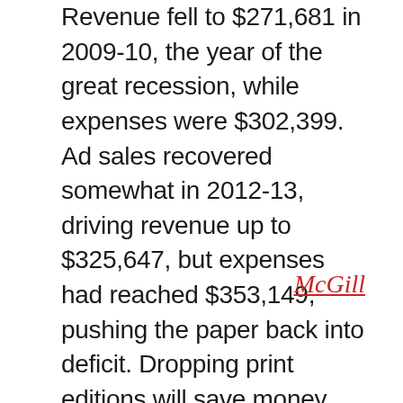Revenue fell to $271,681 in 2009-10, the year of the great recession, while expenses were $302,399. Ad sales recovered somewhat in 2012-13, driving revenue up to $325,647, but expenses had reached $353,149, pushing the paper back into deficit. Dropping print editions will save money, making the paper, “as sustainable as possible,” says Shouldice. On the plus side, she says, dropping editions will allow more time for digital innovation.
McGill